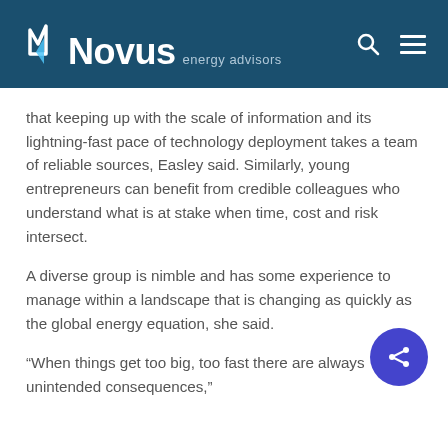Novus energy advisors
that keeping up with the scale of information and its lightning-fast pace of technology deployment takes a team of reliable sources, Easley said. Similarly, young entrepreneurs can benefit from credible colleagues who understand what is at stake when time, cost and risk intersect.
A diverse group is nimble and has some experience to manage within a landscape that is changing as quickly as the global energy equation, she said.
“When things get too big, too fast there are always unintended consequences,”